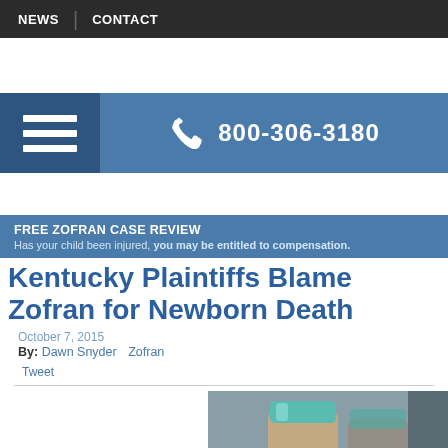NEWS | CONTACT
[Figure (screenshot): Blue navigation banner with hamburger menu icon on left (dark blue section) and phone number 800-306-3180 on right with phone icon]
FREE ZOFRAN CASE REVIEW
Has your child been injured, you may be entitled to compensation.
Kentucky Plaintiffs Blame Zofran for Newborn Death
October 7, 2015
By: Dawn Snyder   Zofran
Tweet
[Figure (photo): Close-up photo of medicine vials/bottles with teal/green caps]